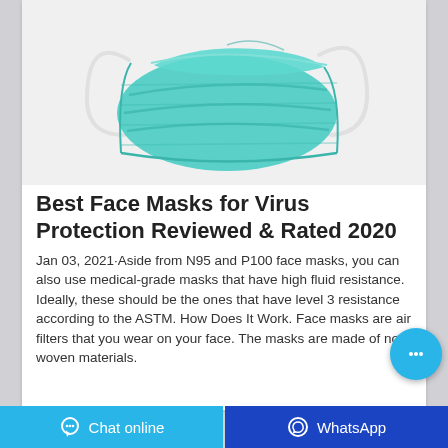[Figure (photo): A teal/turquoise surgical face mask with ear loops against a white background]
Best Face Masks for Virus Protection Reviewed & Rated 2020
Jan 03, 2021·Aside from N95 and P100 face masks, you can also use medical-grade masks that have high fluid resistance. Ideally, these should be the ones that have level 3 resistance according to the ASTM. How Does It Work. Face masks are air filters that you wear on your face. The masks are made of non-woven materials.
Chat online | WhatsApp